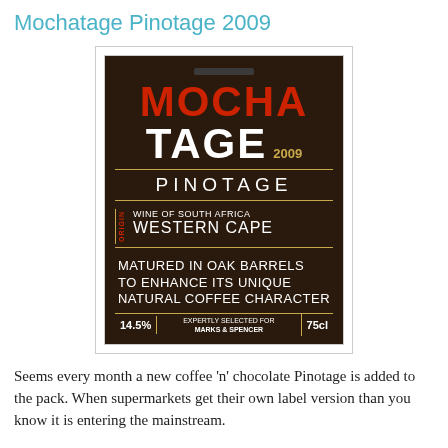Mochatage Pinotage 2009
[Figure (photo): Bottle of Mochatage Pinotage 2009 wine label showing MOCHA TAGE 2009 in red and white lettering on a dark background, PINOTAGE, Wine of South Africa Western Cape, Matured in Oak Barrels to Enhance Its Unique Natural Coffee Character, 14.5% ABV, Expertly selected for Marks & Spencer, 75cl]
Seems every month a new coffee 'n' chocolate Pinotage is added to the pack. When supermarkets get their own label version than you know it is entering the mainstream.